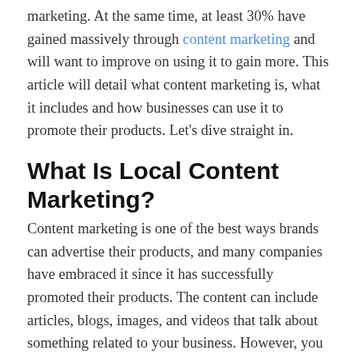marketing. At the same time, at least 30% have gained massively through content marketing and will want to improve on using it to gain more. This article will detail what content marketing is, what it includes and how businesses can use it to promote their products. Let's dive straight in.
What Is Local Content Marketing?
Content marketing is one of the best ways brands can advertise their products, and many companies have embraced it since it has successfully promoted their products. The content can include articles, blogs, images, and videos that talk about something related to your business. However, you cannot create content for everyone.